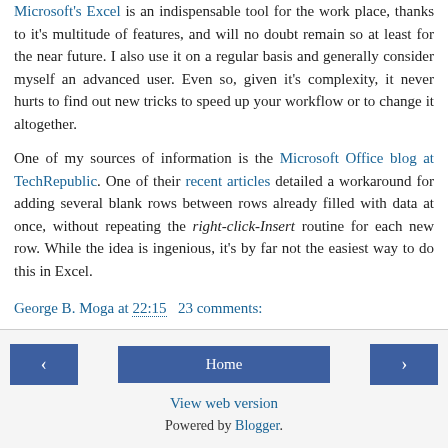Microsoft's Excel is an indispensable tool for the work place, thanks to it's multitude of features, and will no doubt remain so at least for the near future. I also use it on a regular basis and generally consider myself an advanced user. Even so, given it's complexity, it never hurts to find out new tricks to speed up your workflow or to change it altogether.
One of my sources of information is the Microsoft Office blog at TechRepublic. One of their recent articles detailed a workaround for adding several blank rows between rows already filled with data at once, without repeating the right-click-Insert routine for each new row. While the idea is ingenious, it's by far not the easiest way to do this in Excel.
George B. Moga at 22:15   23 comments:
◁  Home  ▷  View web version  Powered by Blogger.